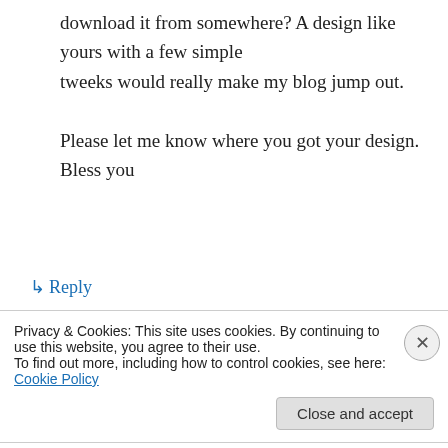download it from somewhere? A design like yours with a few simple tweeks would really make my blog jump out.

Please let me know where you got your design. Bless you
↳ Reply
Linda_MN on June 27, 2013 at 5:13 pm
I made your Chicken Tikka Masala recipe two
Privacy & Cookies: This site uses cookies. By continuing to use this website, you agree to their use.
To find out more, including how to control cookies, see here: Cookie Policy
Close and accept